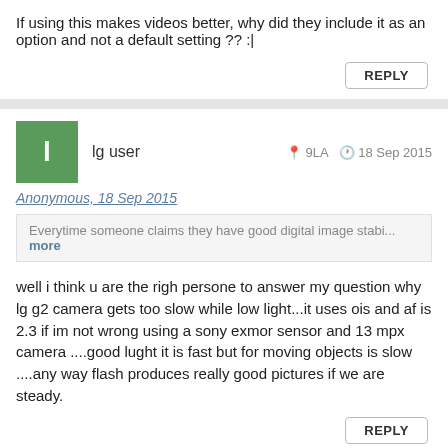If using this makes videos better, why did they include it as an option and not a default setting ?? :|
REPLY
l   lg user   9LA   18 Sep 2015
Anonymous, 18 Sep 2015
Everytime someone claims they have good digital image stabi... more
well i think u are the righ persone to answer my question why lg g2 camera gets too slow while low light...it uses ois and af is 2.3 if im not wrong using a sony exmor sensor and 13 mpx camera ....good lught it is fast but for moving objects is slow ....any way flash produces really good pictures if we are steady.
REPLY